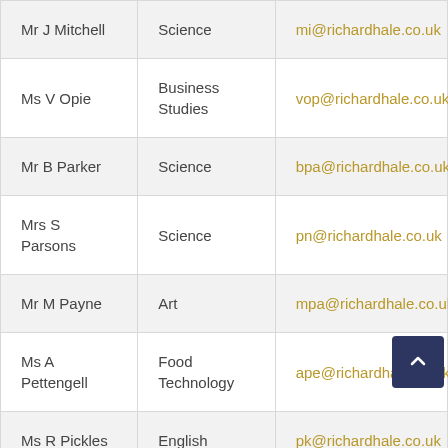| Name | Department | Email |
| --- | --- | --- |
| Mr J Mitchell | Science | mi@richardhale.co.uk |
| Ms V Opie | Business Studies | vop@richardhale.co.uk |
| Mr B Parker | Science | bpa@richardhale.co.uk |
| Mrs S Parsons | Science | pn@richardhale.co.uk |
| Mr M Payne | Art | mpa@richardhale.co.uk |
| Ms A Pettengell | Food Technology | ape@richardhale.co.uk |
| Ms R Pickles | English | pk@richardhale.co.uk |